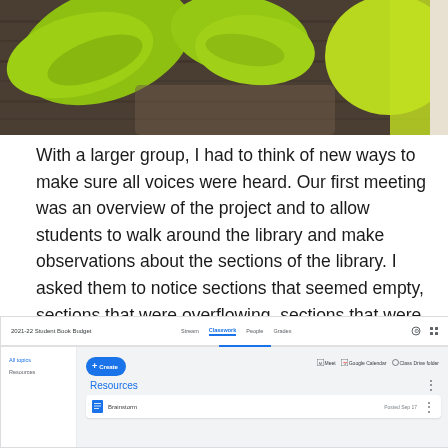[Figure (photo): Photograph of green modern chairs/seating on a dark wood floor, viewed from above]
With a larger group, I had to think of new ways to make sure all voices were heard. Our first meeting was an overview of the project and to allow students to walk around the library and make observations about the sections of the library. I asked them to notice sections that seemed empty, sections that were overflowing, sections that were missing completely, or anything else. They wrote these noticings down on paper and we saved them for our next meeting.
[Figure (screenshot): Screenshot of Google Classroom interface showing '2021-22 Student Book Budget' course with Classwork tab active, showing a 'Resources' section with a 'Brainstorm' assignment item. Navigation includes Stream, Classwork, People, Grades tabs and Meet, Google Calendar, Class Drive folder links.]